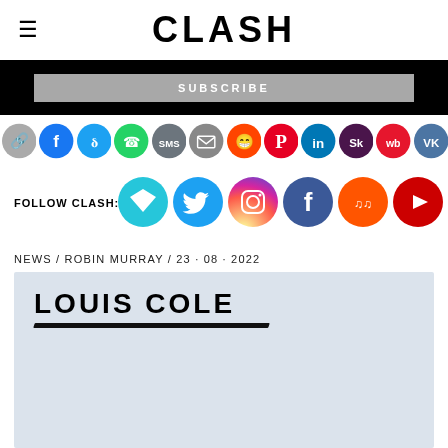CLASH
SUBSCRIBE
[Figure (infographic): Row of social media share icons: copy link, Facebook, Twitter, WhatsApp, SMS, Email, Reddit, Pinterest, LinkedIn, Slack/Tumblr, Weibo, VK]
FOLLOW CLASH:
[Figure (infographic): Follow Clash social media icons: Vuetify/app, Twitter, Instagram, Facebook, SoundCloud, YouTube]
NEWS / ROBIN MURRAY / 23 · 08 · 2022
LOUIS COLE